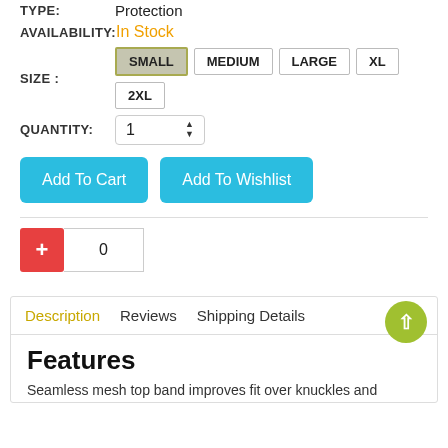TYPE: Protection
AVAILABILITY: In Stock
SIZE: SMALL MEDIUM LARGE XL 2XL
QUANTITY: 1
Add To Cart
Add To Wishlist
0
Description Reviews Shipping Details
Features
Seamless mesh top band improves fit over knuckles and